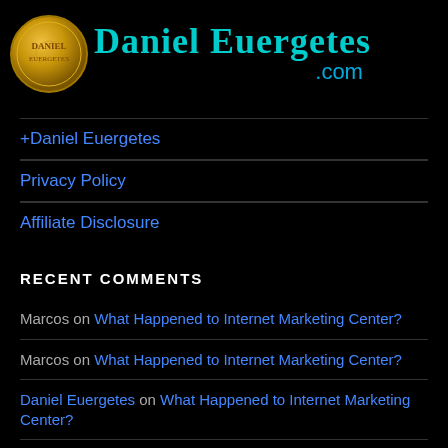[Figure (logo): Daniel Euergetes website header with gold coin logo and cyan gothic-style text 'Daniel Euergetes' with '.com' subtitle]
+Daniel Euergetes
Privacy Policy
Affiliate Disclosure
RECENT COMMENTS
Marcos on What Happened to Internet Marketing Center?
Marcos on What Happened to Internet Marketing Center?
Daniel Euergetes on What Happened to Internet Marketing Center?
Marcos on What Happened to Internet Marketing Center?